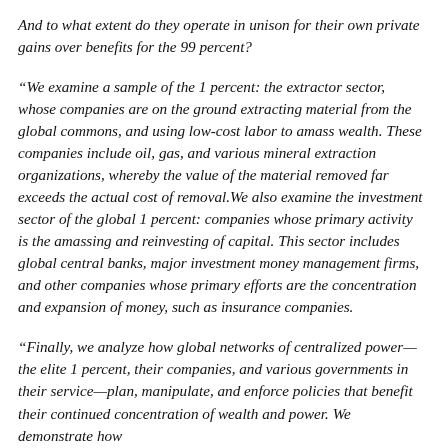And to what extent do they operate in unison for their own private gains over benefits for the 99 percent?
“We examine a sample of the 1 percent: the extractor sector, whose companies are on the ground extracting material from the global commons, and using low-cost labor to amass wealth. These companies include oil, gas, and various mineral extraction organizations, whereby the value of the material removed far exceeds the actual cost of removal.We also examine the investment sector of the global 1 percent: companies whose primary activity is the amassing and reinvesting of capital. This sector includes global central banks, major investment money management firms, and other companies whose primary efforts are the concentration and expansion of money, such as insurance companies.
“Finally, we analyze how global networks of centralized power—the elite 1 percent, their companies, and various governments in their service—plan, manipulate, and enforce policies that benefit their continued concentration of wealth and power. We demonstrate how